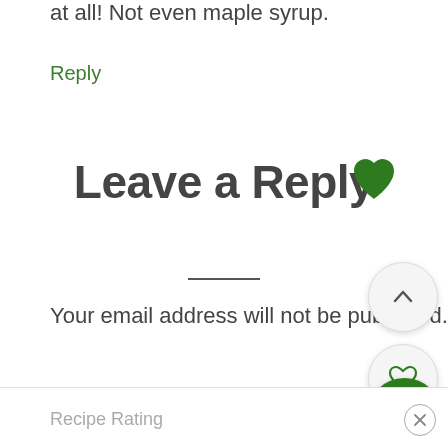at all! Not even maple syrup.
Reply
Leave a Reply
Your email address will not be published. Required fields are marked *